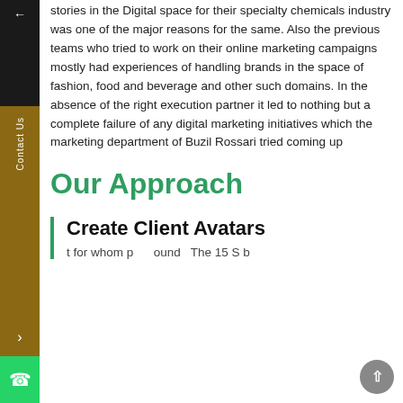stories in the Digital space for their specialty chemicals industry was one of the major reasons for the same. Also the previous teams who tried to work on their online marketing campaigns mostly had experiences of handling brands in the space of fashion, food and beverage and other such domains. In the absence of the right execution partner it led to nothing but a complete failure of any digital marketing initiatives which the marketing department of Buzil Rossari tried coming up
Our Approach
Create Client Avatars
t for whom p ound The 15 S b